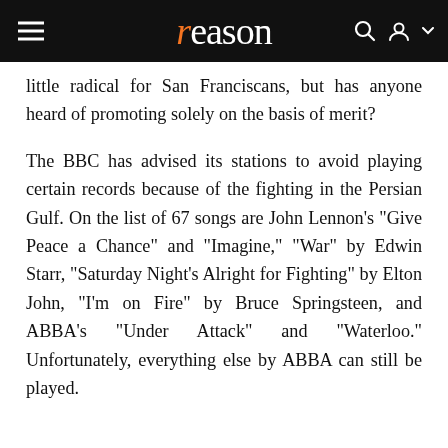reason
little radical for San Franciscans, but has anyone heard of promoting solely on the basis of merit?
The BBC has advised its stations to avoid playing certain records because of the fighting in the Persian Gulf. On the list of 67 songs are John Lennon's "Give Peace a Chance" and "Imagine," "War" by Edwin Starr, "Saturday Night's Alright for Fighting" by Elton John, "I'm on Fire" by Bruce Springsteen, and ABBA's "Under Attack" and "Waterloo." Unfortunately, everything else by ABBA can still be played.